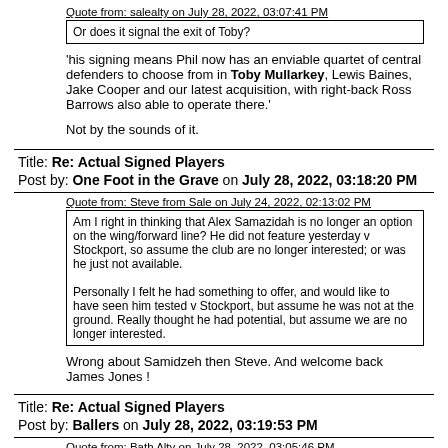Quote from: salealty on July 28, 2022, 03:07:41 PM
Or does it signal the exit of Toby?
'his signing means Phil now has an enviable quartet of central defenders to choose from in Toby Mullarkey, Lewis Baines, Jake Cooper and our latest acquisition, with right-back Ross Barrows also able to operate there.'
Not by the sounds of it.
Title: Re: Actual Signed Players
Post by: One Foot in the Grave on July 28, 2022, 03:18:20 PM
Quote from: Steve from Sale on July 24, 2022, 02:13:02 PM
Am I right in thinking that Alex Samazidah is no longer an option on the wing/forward line? He did not feature yesterday v Stockport, so assume the club are no longer interested; or was he just not available.

Personally I felt he had something to offer, and would like to have seen him tested v Stockport, but assume he was not at the ground. Really thought he had potential, but assume we are no longer interested.
Wrong about Samidzeh then Steve. And welcome back James Jones !
Title: Re: Actual Signed Players
Post by: Ballers on July 28, 2022, 03:19:53 PM
Quote from: Bath Alty on July 28, 2022, 03:05:46 PM